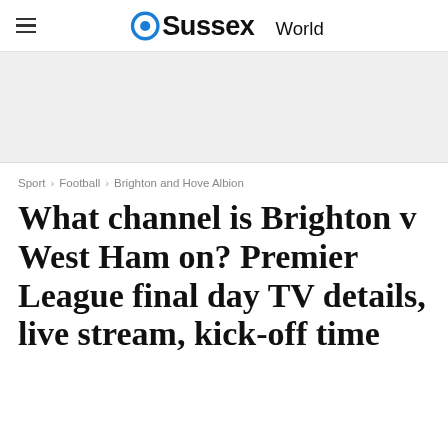OSussexWorld
Sport > Football > Brighton and Hove Albion
What channel is Brighton v West Ham on? Premier League final day TV details, live stream, kick-off time